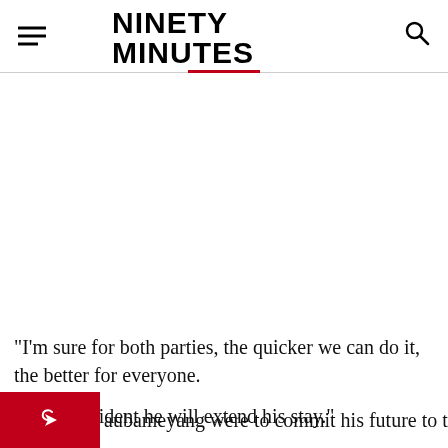NINETY MINUTES ONLINE
“I’m sure for both parties, the quicker we can do it, the better for everyone.
“I am confident he will extend his stay.”
aubameyang were to commit his future to the